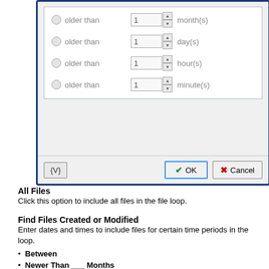[Figure (screenshot): Dialog box showing file date filter options with radio buttons for 'older than' with spinner inputs for months, days, hours, minutes, plus {V}, OK, and Cancel buttons at the bottom.]
All Files
Click this option to include all files in the file loop.
Find Files Created or Modified
Enter dates and times to include files for certain time periods in the loop.
Between
Newer Than ___ Months
Newer Than ___ Days